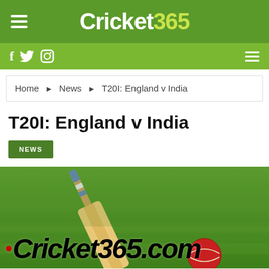Cricket365
f  twitter  instagram
Home ▶ News ▶ T20I: England v India
T20I: England v India
NEWS
[Figure (photo): Cricket bat and red ball on grass with Cricket365.com watermark logo overlay]